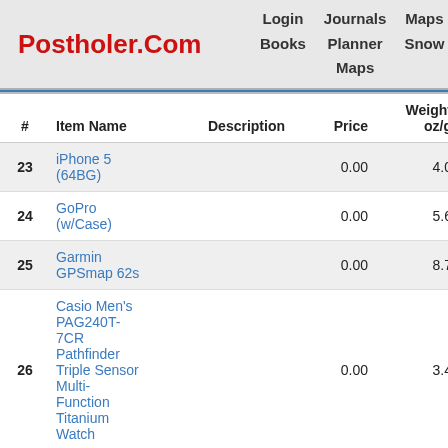Postholer.Com | Login Books | Journals Planner | Maps Snow Maps | Data Google
| # | Item Name | Description | Price | Weight oz/g | Running Price | Running Weight |
| --- | --- | --- | --- | --- | --- | --- |
| 23 | iPhone 5 (64BG) |  | 0.00 | 4.0 | 0.00 | 0.25lb |
| 24 | GoPro (w/Case) |  | 0.00 | 5.6 | 0.00 | 0.60lb |
| 25 | Garmin GPSmap 62s |  | 0.00 | 8.7 | 0.00 | 1.14lb |
| 26 | Casio Men's PAG240T-7CR Pathfinder Triple Sensor Multi-Function Titanium Watch |  | 0.00 | 3.4 | 0.00 | 1.36lb |
| 27 | Black Diamond Spot |  | 0.00 | 2.0 | 0.00 | 1.48lb |